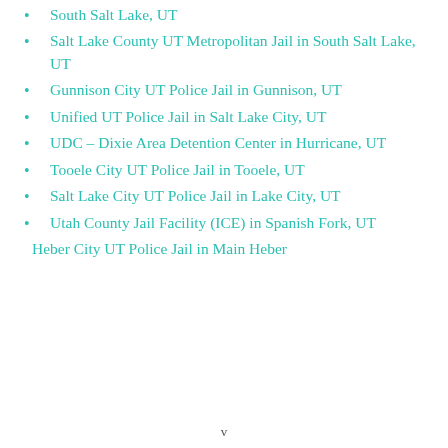South Salt Lake, UT
Salt Lake County UT Metropolitan Jail in South Salt Lake, UT
Gunnison City UT Police Jail in Gunnison, UT
Unified UT Police Jail in Salt Lake City, UT
UDC – Dixie Area Detention Center in Hurricane, UT
Tooele City UT Police Jail in Tooele, UT
Salt Lake City UT Police Jail in Lake City, UT
Utah County Jail Facility (ICE) in Spanish Fork, UT
Heber City UT Police Jail in Main Heber
v